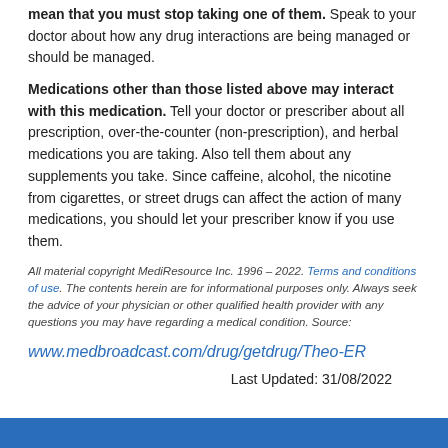mean that you must stop taking one of them. Speak to your doctor about how any drug interactions are being managed or should be managed. Medications other than those listed above may interact with this medication. Tell your doctor or prescriber about all prescription, over-the-counter (non-prescription), and herbal medications you are taking. Also tell them about any supplements you take. Since caffeine, alcohol, the nicotine from cigarettes, or street drugs can affect the action of many medications, you should let your prescriber know if you use them.
All material copyright MediResource Inc. 1996 – 2022. Terms and conditions of use. The contents herein are for informational purposes only. Always seek the advice of your physician or other qualified health provider with any questions you may have regarding a medical condition. Source: www.medbroadcast.com/drug/getdrug/Theo-ER
Last Updated: 31/08/2022